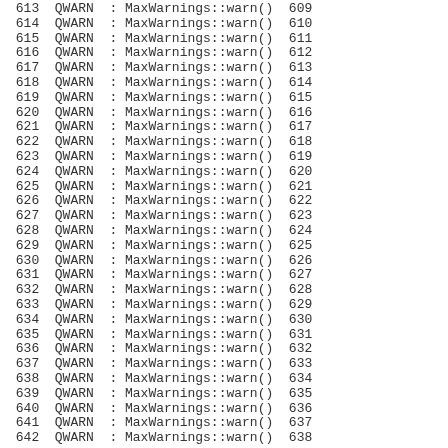613  QWARN  : MaxWarnings::warn()  609
614  QWARN  : MaxWarnings::warn()  610
615  QWARN  : MaxWarnings::warn()  611
616  QWARN  : MaxWarnings::warn()  612
617  QWARN  : MaxWarnings::warn()  613
618  QWARN  : MaxWarnings::warn()  614
619  QWARN  : MaxWarnings::warn()  615
620  QWARN  : MaxWarnings::warn()  616
621  QWARN  : MaxWarnings::warn()  617
622  QWARN  : MaxWarnings::warn()  618
623  QWARN  : MaxWarnings::warn()  619
624  QWARN  : MaxWarnings::warn()  620
625  QWARN  : MaxWarnings::warn()  621
626  QWARN  : MaxWarnings::warn()  622
627  QWARN  : MaxWarnings::warn()  623
628  QWARN  : MaxWarnings::warn()  624
629  QWARN  : MaxWarnings::warn()  625
630  QWARN  : MaxWarnings::warn()  626
631  QWARN  : MaxWarnings::warn()  627
632  QWARN  : MaxWarnings::warn()  628
633  QWARN  : MaxWarnings::warn()  629
634  QWARN  : MaxWarnings::warn()  630
635  QWARN  : MaxWarnings::warn()  631
636  QWARN  : MaxWarnings::warn()  632
637  QWARN  : MaxWarnings::warn()  633
638  QWARN  : MaxWarnings::warn()  634
639  QWARN  : MaxWarnings::warn()  635
640  QWARN  : MaxWarnings::warn()  636
641  QWARN  : MaxWarnings::warn()  637
642  QWARN  : MaxWarnings::warn()  638